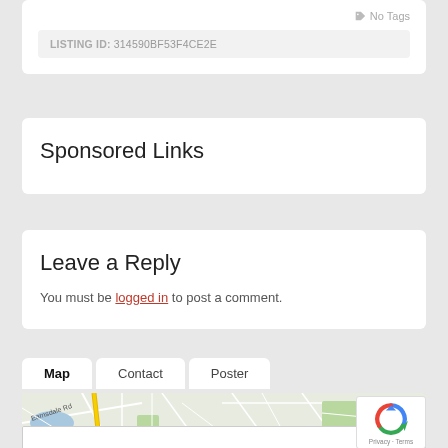No Tags
LISTING ID: 314590BF53F4CE2E
Sponsored Links
Leave a Reply
You must be logged in to post a comment.
Map  Contact  Poster
[Figure (map): Street map showing Earnsdale Rd and surrounding area with roads, green spaces, and a blue water feature]
Privacy · Terms